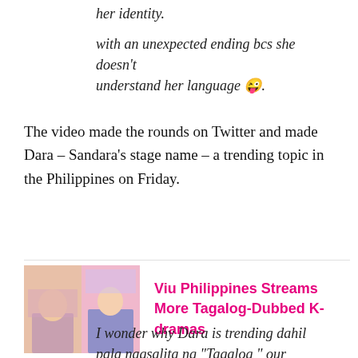her identity.
with an unexpected ending bcs she doesn't understand her language 😜.
The video made the rounds on Twitter and made Dara – Sandara's stage name – a trending topic in the Philippines on Friday.
[Figure (photo): Two K-drama promotional images side by side showing actors]
Viu Philippines Streams More Tagalog-Dubbed K-dramas
I wonder why Dara is trending dahil pala nagsalita ng "Tagalog " our pambansang Krung2 who really proud being Filipino by